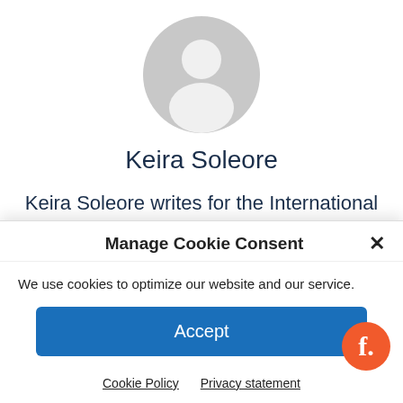[Figure (illustration): Gray circular avatar placeholder with silhouette of a person (head and shoulders)]
Keira Soleore
Keira Soleore writes for the International Examiner and Cogitations & Meditations. She enjoys connecting with readers on Twitter (@keirasoleore) and through her
Manage Cookie Consent
We use cookies to optimize our website and our service.
Accept
Cookie Policy   Privacy statement